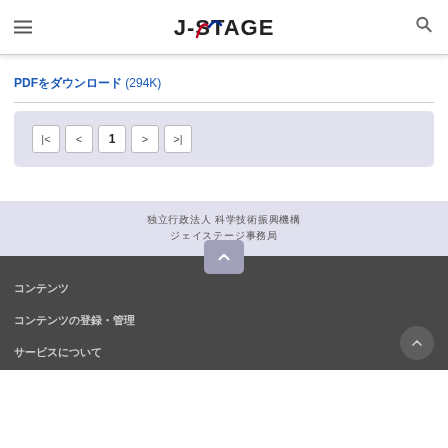J-STAGE
PDFをダウンロード (294K)
[Figure (screenshot): Pagination controls showing |< < 1 > >| buttons]
独立行政法人 科学技術振興機構
ジェイステージ事務局
コンテンツ
コンテンツの登録・管理
サービスについて